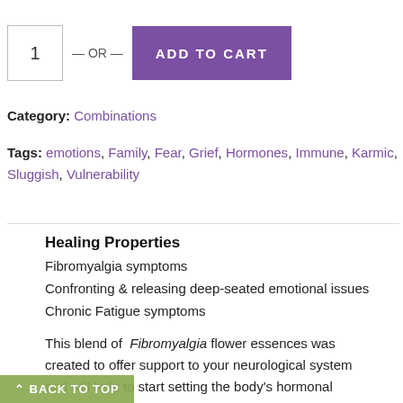1
— OR —  ADD TO CART
Category: Combinations
Tags: emotions, Family, Fear, Grief, Hormones, Immune, Karmic, Sluggish, Vulnerability
Healing Properties
Fibromyalgia symptoms
Confronting & releasing deep-seated emotional issues
Chronic Fatigue symptoms
This blend of Fibromyalgia flower essences was created to offer support to your neurological system and will help to start setting the body's hormonal
BACK TO TOP